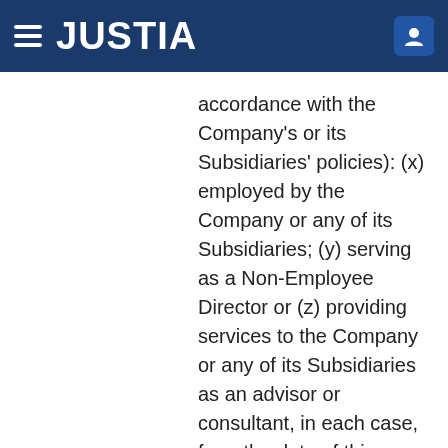JUSTIA
accordance with the Company's or its Subsidiaries' policies): (x) employed by the Company or any of its Subsidiaries; (y) serving as a Non-Employee Director or (z) providing services to the Company or any of its Subsidiaries as an advisor or consultant, in each case, from the date of this Agreement through and including the Vesting Date.
PORCH GROUP, INC.